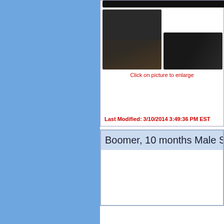[Figure (photo): Photos of a black dog - top strip photo and two smaller photos side by side]
Click on picture to enlarge
Last Modified: 3/10/2014 3:49:36 PM EST
Boomer, 10 months Male Sibe...